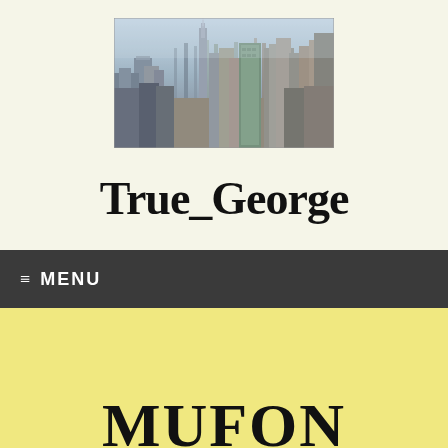[Figure (photo): Aerial cityscape photo of New York City skyline showing skyscrapers including the Empire State Building, with a hazy sky background]
True_George
≡ MENU
MUFON